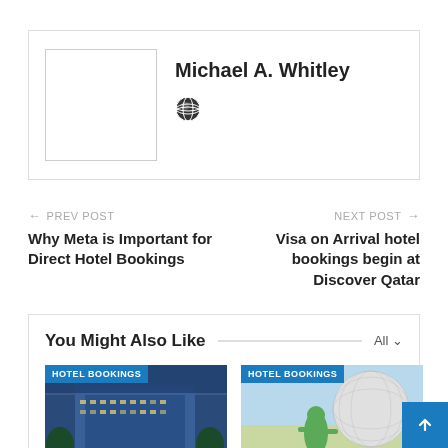[Figure (other): Author box with avatar placeholder and globe icon for Michael A. Whitley]
Michael A. Whitley
← PREV POST
Why Meta is Important for Direct Hotel Bookings
NEXT POST →
Visa on Arrival hotel bookings begin at Discover Qatar
You Might Also Like
[Figure (photo): Hotel building at dusk with HOTEL BOOKINGS tag]
[Figure (photo): Epcot sphere with character and HOTEL BOOKINGS tag]